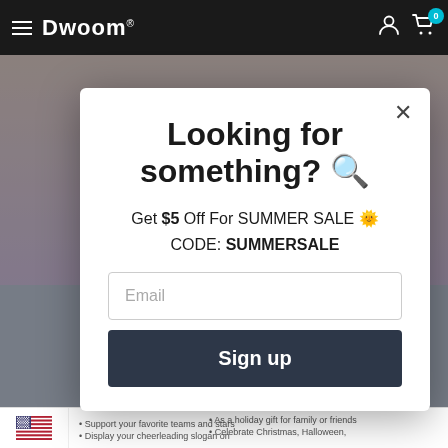Dwoom — navigation bar with hamburger menu, logo, user icon, cart (0)
[Figure (screenshot): Website background behind modal overlay showing blurred product images and gradient backgrounds]
Looking for something? 🔍
Get $5 Off For SUMMER SALE 🌞
CODE: SUMMERSALE
Email (input placeholder)
Sign up
US flag icon | • Support your favorite teams and stars • Display your cheerleading slogan on | • As a holiday gift for family or friends • Celebrate Christmas, Halloween,